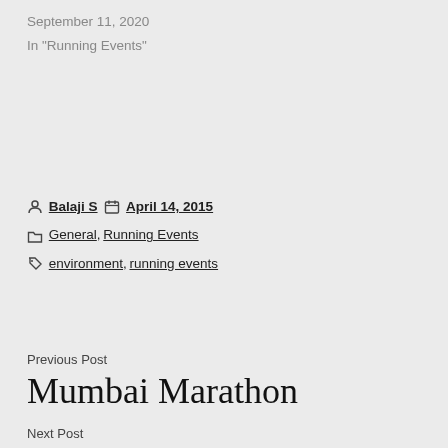September 11, 2020
In "Running Events"
Balaji S   April 14, 2015
General, Running Events
environment, running events
Previous Post
Mumbai Marathon
Next Post